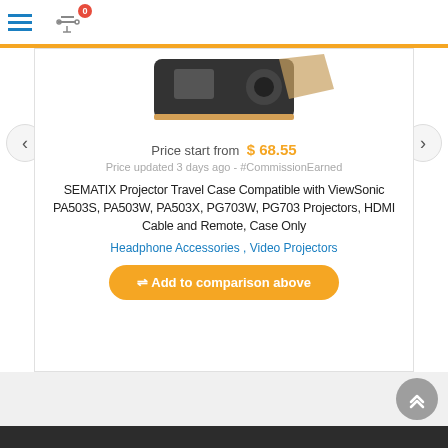≡  ⚖ 0
[Figure (photo): Partial product image of a projector travel case (cropped, showing bottom portion of a black case/projector)]
Price start from  $ 68.55
Price updated 3 days ago - #CommissionEarned
SEMATIX Projector Travel Case Compatible with ViewSonic PA503S, PA503W, PA503X, PG703W, PG703 Projectors, HDMI Cable and Remote, Case Only
Headphone Accessories ,  Video Projectors
⇄ Add to comparison above